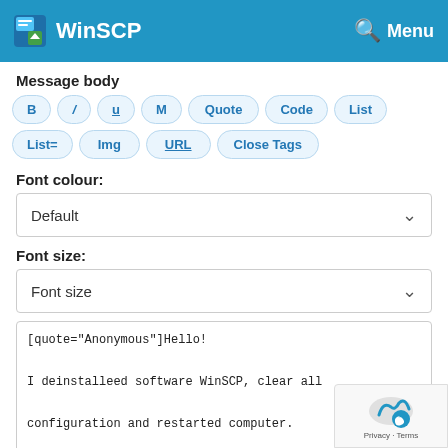WinSCP Menu
Message body
[Figure (screenshot): Formatting toolbar with buttons: B, /, U, M, Quote, Code, List, List=, Img, URL, Close Tags]
Font colour:
Default (dropdown)
Font size:
Font size (dropdown)
[quote="Anonymous"]Hello!

I deinstalleed software WinSCP, clear all

configuration and restarted computer.

I started your version WinSCP (pic 1)